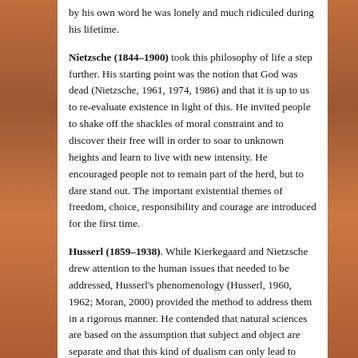by his own word he was lonely and much ridiculed during his lifetime.
Nietzsche (1844–1900) took this philosophy of life a step further. His starting point was the notion that God was dead (Nietzsche, 1961, 1974, 1986) and that it is up to us to re-evaluate existence in light of this. He invited people to shake off the shackles of moral constraint and to discover their free will in order to soar to unknown heights and learn to live with new intensity. He encouraged people not to remain part of the herd, but to dare stand out. The important existential themes of freedom, choice, responsibility and courage are introduced for the first time.
Husserl (1859–1938). While Kierkegaard and Nietzsche drew attention to the human issues that needed to be addressed, Husserl's phenomenology (Husserl, 1960, 1962; Moran, 2000) provided the method to address them in a rigorous manner. He contended that natural sciences are based on the assumption that subject and object are separate and that this kind of dualism can only lead to